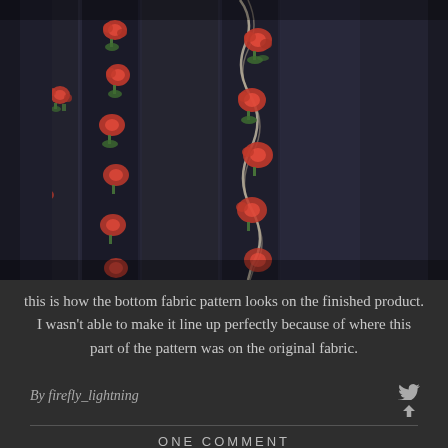[Figure (photo): Close-up photo of dark navy/black fabric with red rose floral pattern arranged in vertical stripes and ornamental border design]
this is how the bottom fabric pattern looks on the finished product. I wasn't able to make it line up perfectly because of where this part of the pattern was on the original fabric.
By firefly_lightning
ONE COMMENT